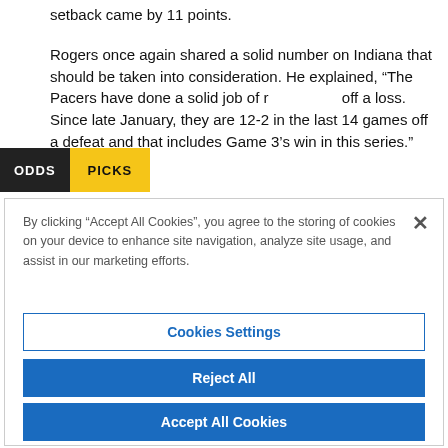setback came by 11 points.
Rogers once again shared a solid number on Indiana that should be taken into consideration. He explained, “The Pacers have done a solid job of responding off a loss. Since late January, they are 12-2 in the last 14 games off a defeat and that includes Game 3’s win in this series.”
By clicking “Accept All Cookies”, you agree to the storing of cookies on your device to enhance site navigation, analyze site usage, and assist in our marketing efforts.
Cookies Settings
Reject All
Accept All Cookies